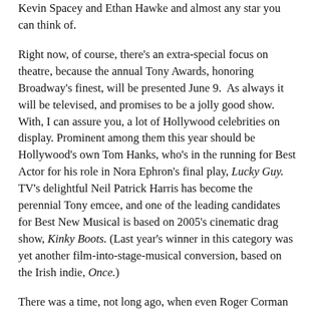Kevin Spacey and Ethan Hawke and almost any star you can think of.
Right now, of course, there's an extra-special focus on theatre, because the annual Tony Awards, honoring Broadway's finest, will be presented June 9.  As always it will be televised, and promises to be a jolly good show. With, I can assure you, a lot of Hollywood celebrities on display. Prominent among them this year should be Hollywood's own Tom Hanks, who's in the running for Best Actor for his role in Nora Ephron's final play, Lucky Guy. TV's delightful Neil Patrick Harris has become the perennial Tony emcee, and one of the leading candidates for Best New Musical is based on 2005's cinematic drag show, Kinky Boots. (Last year's winner in this category was yet another film-into-stage-musical conversion, based on the Irish indie, Once.)
There was a time, not long ago, when even Roger Corman was living in New York. In 2000, Roger's wife Julie was named chair of the prestigious graduate film and television department at NYU's Tisch School of the Arts. (Alumni include Spike Lee, Ang Lee, and Corman protégé Martin